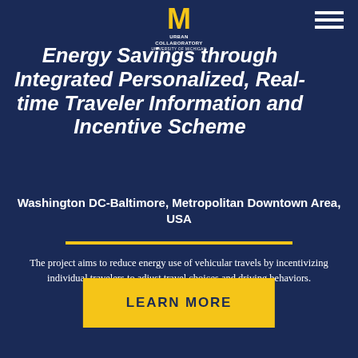[Figure (logo): University of Michigan Urban Collaboratory logo with yellow M and text]
Energy Savings through Integrated Personalized, Real-time Traveler Information and Incentive Scheme
Washington DC-Baltimore, Metropolitan Downtown Area, USA
The project aims to reduce energy use of vehicular travels by incentivizing individual travelers to adjust travel choices and driving behaviors.
LEARN MORE